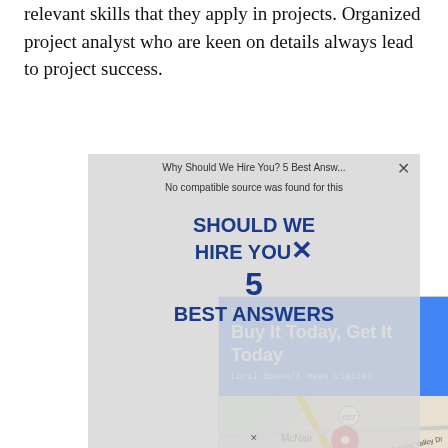yields success since they need to have all the relevant skills that they apply in projects. Organized project analyst who are keen on details always lead to project success.
[Figure (screenshot): Screenshot of a Google Maps ad for Furniture Max ('Buy It Today, Get It Today - Local Doesn't Mean Limited') with a map showing McNair area, overlaid by a partially visible video ad overlay ('Why Should We Hire You? 5 Best Answers', 'No compatible source was found for this') with close button and overlay text 'SHOULD WE HIRE YOU X 5 Best Answers']